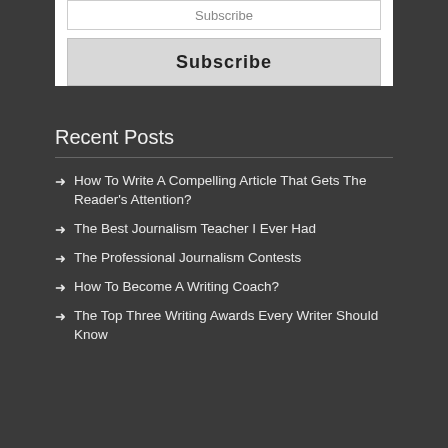Subscribe
Subscribe
Recent Posts
How To Write A Compelling Article That Gets The Reader's Attention?
The Best Journalism Teacher I Ever Had
The Professional Journalism Contests
How To Become A Writing Coach?
The Top Three Writing Awards Every Writer Should Know